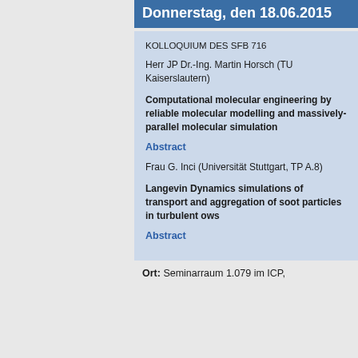Donnerstag, den 18.06.2015
KOLLOQUIUM DES SFB 716
Herr JP Dr.-Ing. Martin Horsch (TU Kaiserslautern)
Computational molecular engineering by reliable molecular modelling and massively-parallel molecular simulation
Abstract
Frau G. Inci (Universität Stuttgart, TP A.8)
Langevin Dynamics simulations of transport and aggregation of soot particles in turbulent ows
Abstract
Ort: Seminarraum 1.079 im ICP,